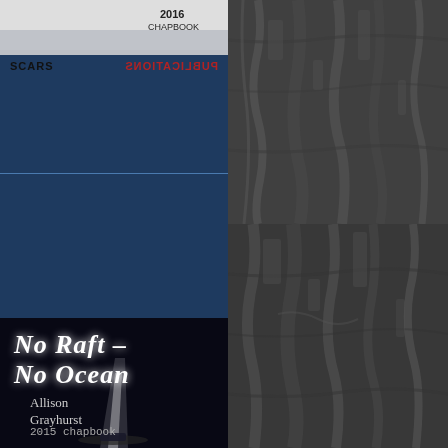[Figure (photo): Book cover thumbnail for a 2016 Chapbook by Scars Publications, shown mirrored/reversed. Navy blue background with white/gray upper portion and SCARS PUBLICATIONS text.]
[Figure (screenshot): Button UI element reading 'g | Add book' in a golden/cream styled button on navy background]
[Figure (photo): Book cover for 'No Raft – No Ocean' by Allison Grayhurst, 2015 chapbook. Dark background with white handwritten-style title text and a small boat with light beam image at bottom.]
[Figure (photo): Dark rough bark/rock texture photograph, top-right quadrant of the page]
[Figure (photo): Dark rough bark/rock texture photograph, bottom-right quadrant of the page]